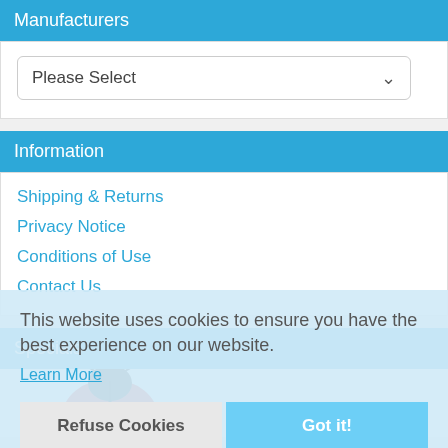Manufacturers
Please Select
Information
Shipping & Returns
Privacy Notice
Conditions of Use
Contact Us
Specials
This website uses cookies to ensure you have the best experience on our website.
Learn More
Refuse Cookies
Got it!
[Figure (illustration): Ladybug illustration partially visible at bottom of page]